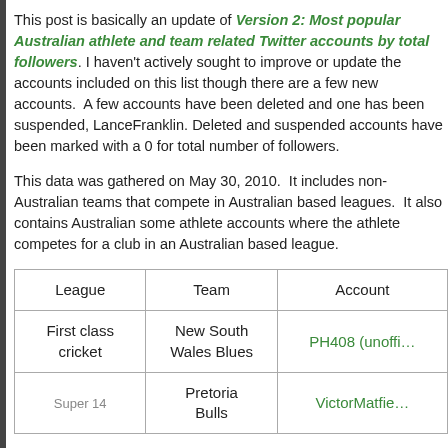This post is basically an update of Version 2: Most popular Australian athlete and team related Twitter accounts by total followers. I haven't actively sought to improve or update the accounts included on this list though there are a few new accounts.  A few accounts have been deleted and one has been suspended, LanceFranklin. Deleted and suspended accounts have been marked with a 0 for total number of followers.
This data was gathered on May 30, 2010.  It includes non-Australian teams that compete in Australian based leagues.  It also contains Australian some athlete accounts where the athlete competes for a club in an Australian based league.
| League | Team | Account |
| --- | --- | --- |
| First class cricket | New South Wales Blues | PH408 (unoffi… |
| Super 14 | Pretoria Bulls | VictorMatfie… |